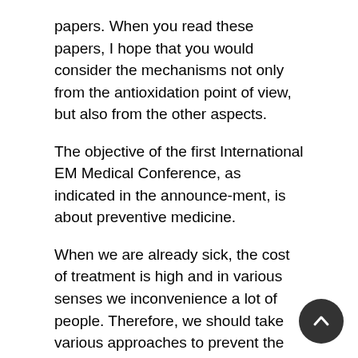papers. When you read these papers, I hope that you would consider the mechanisms not only from the antioxidation point of view, but also from the other aspects. The objective of the first International EM Medical Conference, as indicated in the announce-ment, is about preventive medicine. When we are already sick, the cost of treatment is high and in various senses we inconvenience a lot of people. Therefore, we should take various approaches to prevent the occurrence of diseases. There is a global situation that the cost of medical treatment is increasing to the extent that it is creating a financial crisis in various countries. When the State is not providing health security, then the individual burden will be very great indeed.